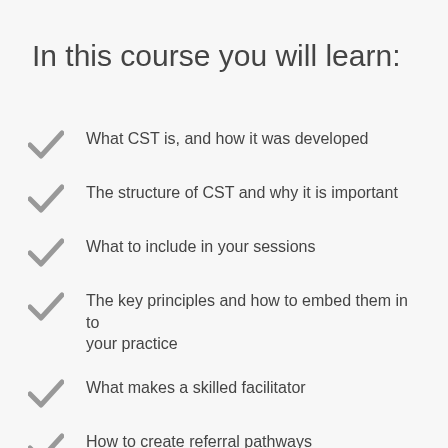In this course you will learn:
What CST is, and how it was developed
The structure of CST and why it is important
What to include in your sessions
The key principles and how to embed them in to your practice
What makes a skilled facilitator
How to create referral pathways